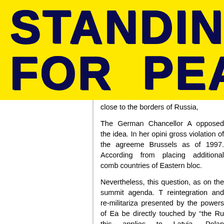[Figure (other): Yellow banner header with stylized cracked blue text reading 'STANDING FOR PEA' (partially cropped), on bright yellow background]
close to the borders of Russia,
The German Chancellor A opposed the idea. In her opini gross violation of the agreeme Brussels as of 1997. According from placing additional comb countries of Eastern bloc.
Nevertheless, this question, as on the summit agenda. T reintegration and re-militariza presented by the powers of Ea be directly touched by “the Ru this applies to Latvia, Polan announced their plans of incr